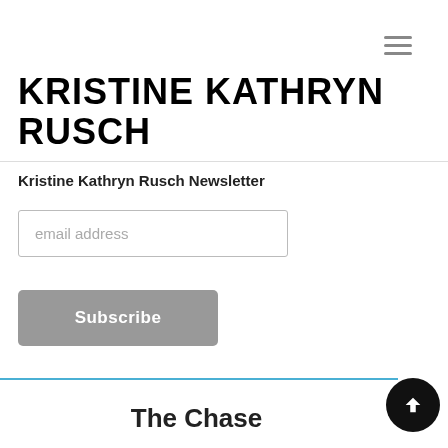≡ (hamburger menu icon)
KRISTINE KATHRYN RUSCH
Kristine Kathryn Rusch Newsletter
email address
Subscribe
The Chase